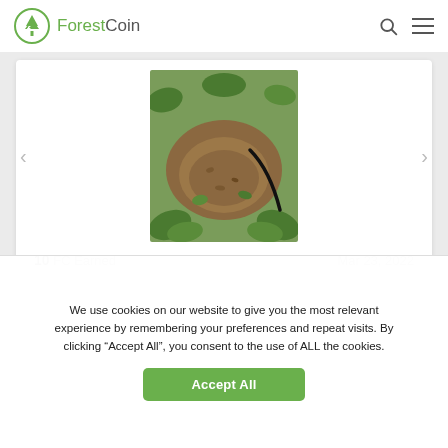ForestCoin
[Figure (photo): Outdoor ground-level photo showing soil/dirt area surrounded by green plants and leaves, with a black pipe or tube visible]
10 FC Earned   Mar 23, 2022
We use cookies on our website to give you the most relevant experience by remembering your preferences and repeat visits. By clicking "Accept All", you consent to the use of ALL the cookies.